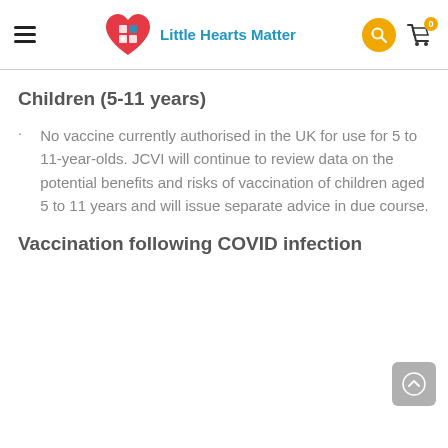Little Hearts Matter — navigation header with logo, search, and cart
Children (5-11 years)
No vaccine currently authorised in the UK for use for 5 to 11-year-olds. JCVI will continue to review data on the potential benefits and risks of vaccination of children aged 5 to 11 years and will issue separate advice in due course.
Vaccination following COVID infection